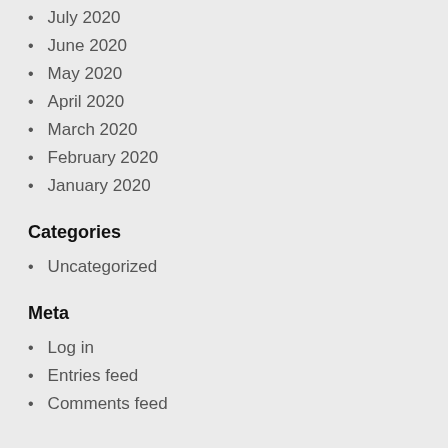July 2020
June 2020
May 2020
April 2020
March 2020
February 2020
January 2020
Categories
Uncategorized
Meta
Log in
Entries feed
Comments feed